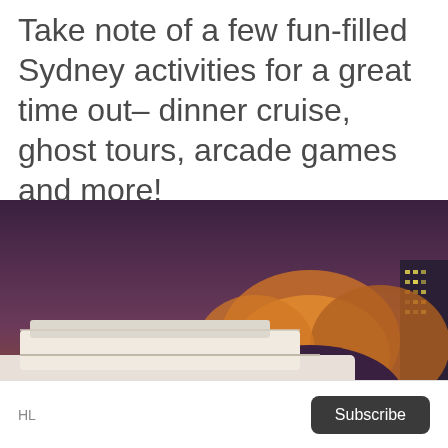Take note of a few fun-filled Sydney activities for a great time out– dinner cruise, ghost tours, arcade games and more!
[Figure (photo): Night photograph of a cruise ship labeled 'TIC CRUISES' on a harbor with illuminated architectural structures in the background at dusk, with warm orange and purple tones.]
HL   Subscribe